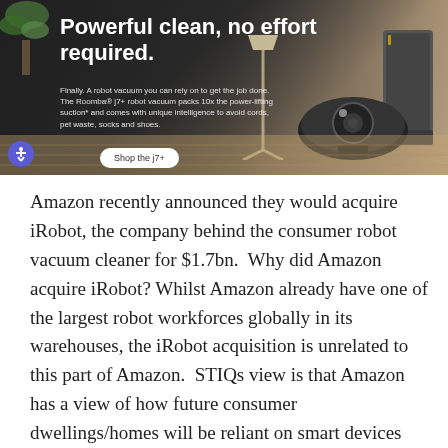[Figure (screenshot): iRobot Roomba j7+ advertisement screenshot showing 'Powerful clean, no effort required.' headline with a robot vacuum and base station on hardwood floor. Features a 'Shop the j7+' button and accessibility icon.]
Amazon recently announced they would acquire iRobot, the company behind the consumer robot vacuum cleaner for $1.7bn.  Why did Amazon acquire iRobot? Whilst Amazon already have one of the largest robot workforces globally in its warehouses, the iRobot acquisition is unrelated to this part of Amazon.  STIQs view is that Amazon has a view of how future consumer dwellings/homes will be reliant on smart devices connected to a software ecosystem, such as Amazon's Alexa assistant. Amazon internal initiatives high failure rate? Amazon has already attempted to develop